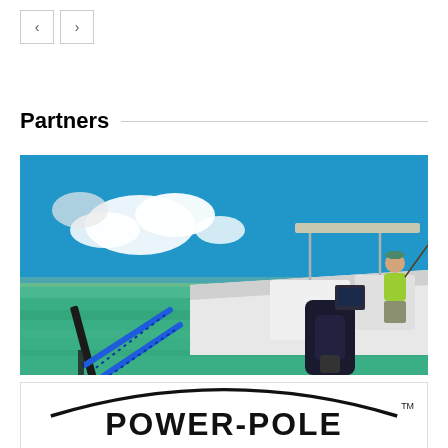[Figure (screenshot): Navigation back/forward arrow buttons]
Partners
[Figure (photo): A fishing boat on clear turquoise water with a blue Power-Pole anchor system attached at the rear, a person in a yellow-green shirt fishing from the bow, under a bright blue sky with clouds.]
[Figure (logo): Power-Pole brand logo with text POWER-POLE in bold black letters inside an oval arc outline, with TM trademark symbol.]